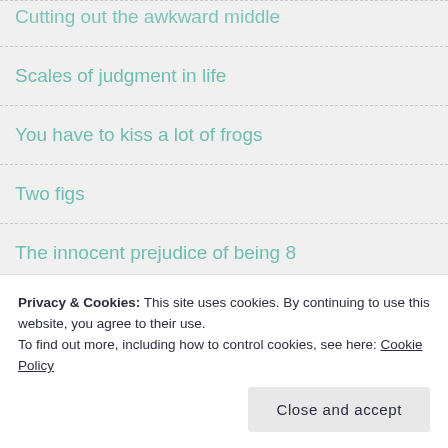Cutting out the awkward middle
Scales of judgment in life
You have to kiss a lot of frogs
Two figs
The innocent prejudice of being 8
Get fit and save money
Got my easel out
Orchestral manoeuvres in the…
Privacy & Cookies: This site uses cookies. By continuing to use this website, you agree to their use.
To find out more, including how to control cookies, see here: Cookie Policy
Close and accept